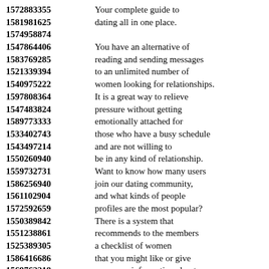1572883355 Your complete guide to
1581981625 dating all in one place.
1574958874
1547864406 You have an alternative of
1583769285 reading and sending messages
1521339394 to an unlimited number of
1540975222 women looking for relationships.
1597808364 It is a great way to relieve
1547483824 pressure without getting
1589773333 emotionally attached for
1533402743 those who have a busy schedule
1543497214 and are not willing to
1550260940 be in any kind of relationship.
1559732731 Want to know how many users
1586256940 join our dating community,
1561102904 and what kinds of people
1572592659 profiles are the most popular?
1550389842 There is a system that
1551238861 recommends to the members
1525389305 a checklist of women
1586416686 that you might like or give
1569762218 you more information about.
1520512773 You are free to decide on
1571871666 women looking for a date
1533231743 choose based on who